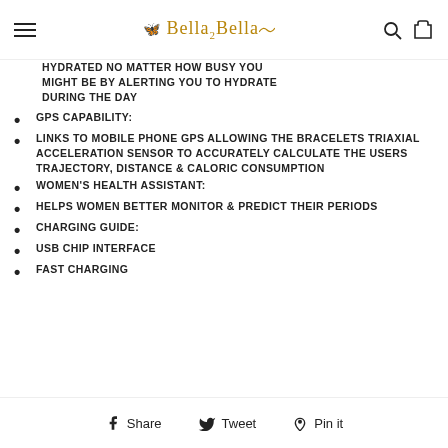Bella2Bella
HYDRATED NO MATTER HOW BUSY YOU MIGHT BE BY ALERTING YOU TO HYDRATE DURING THE DAY
GPS CAPABILITY:
LINKS TO MOBILE PHONE GPS ALLOWING THE BRACELETS TRIAXIAL ACCELERATION SENSOR TO ACCURATELY CALCULATE THE USERS TRAJECTORY, DISTANCE & CALORIC CONSUMPTION
WOMEN'S HEALTH ASSISTANT:
HELPS WOMEN BETTER MONITOR & PREDICT THEIR PERIODS
CHARGING GUIDE:
USB CHIP INTERFACE
FAST CHARGING
Share  Tweet  Pin it